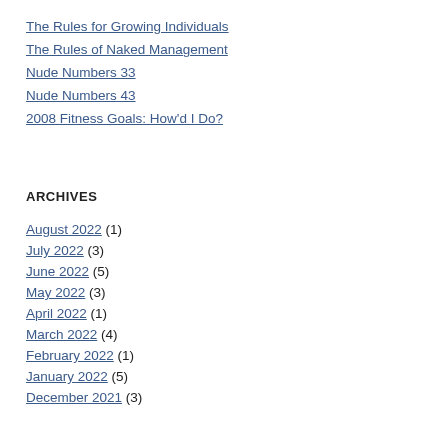The Rules for Growing Individuals
The Rules of Naked Management
Nude Numbers 33
Nude Numbers 43
2008 Fitness Goals: How'd I Do?
ARCHIVES
August 2022 (1)
July 2022 (3)
June 2022 (5)
May 2022 (3)
April 2022 (1)
March 2022 (4)
February 2022 (1)
January 2022 (5)
December 2021 (3)